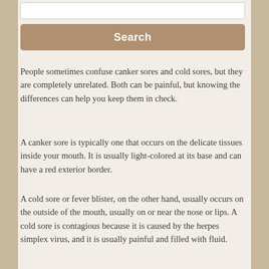[Figure (screenshot): Search input text box (white rectangle)]
[Figure (screenshot): Search button (tan/brown button with white bold text 'Search')]
People sometimes confuse canker sores and cold sores, but they are completely unrelated. Both can be painful, but knowing the differences can help you keep them in check.
A canker sore is typically one that occurs on the delicate tissues inside your mouth. It is usually light-colored at its base and can have a red exterior border.
A cold sore or fever blister, on the other hand, usually occurs on the outside of the mouth, usually on or near the nose or lips. A cold sore is contagious because it is caused by the herpes simplex virus, and it is usually painful and filled with fluid.